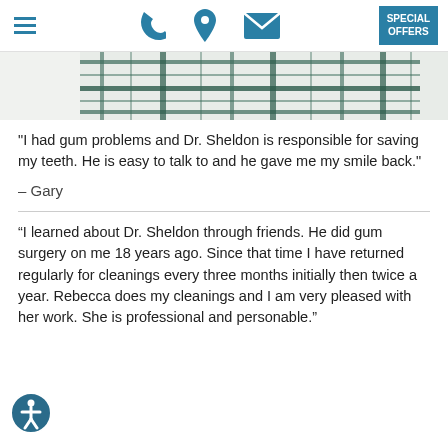Header navigation with hamburger menu, phone icon, location icon, email icon, and SPECIAL OFFERS button
[Figure (photo): Partial view of a plaid/tartan fabric pattern in white and dark teal/green colors]
"I had gum problems and Dr. Sheldon is responsible for saving my teeth. He is easy to talk to and he gave me my smile back."
– Gary
“I learned about Dr. Sheldon through friends. He did gum surgery on me 18 years ago. Since that time I have returned regularly for cleanings every three months initially then twice a year. Rebecca does my cleanings and I am very pleased with her work. She is professional and personable.”